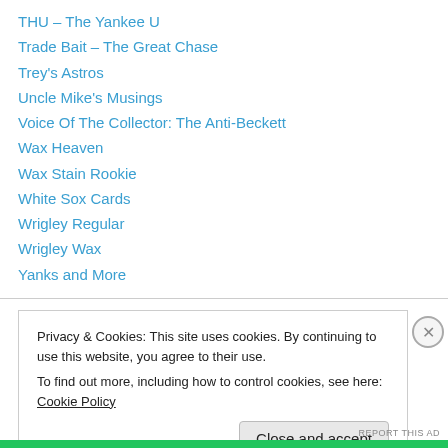THU – The Yankee U
Trade Bait – The Great Chase
Trey's Astros
Uncle Mike's Musings
Voice Of The Collector: The Anti-Beckett
Wax Heaven
Wax Stain Rookie
White Sox Cards
Wrigley Regular
Wrigley Wax
Yanks and More
Privacy & Cookies: This site uses cookies. By continuing to use this website, you agree to their use.
To find out more, including how to control cookies, see here: Cookie Policy